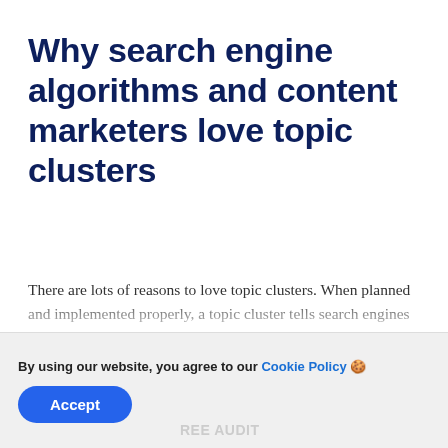Why search engine algorithms and content marketers love topic clusters
There are lots of reasons to love topic clusters. When planned and implemented properly, a topic cluster tells search engines that your content is authoritative and relevant - in other words, your content provides in-depth expertise and explanation of a specific topic.
By using our website, you agree to our Cookie Policy 🍪
Accept